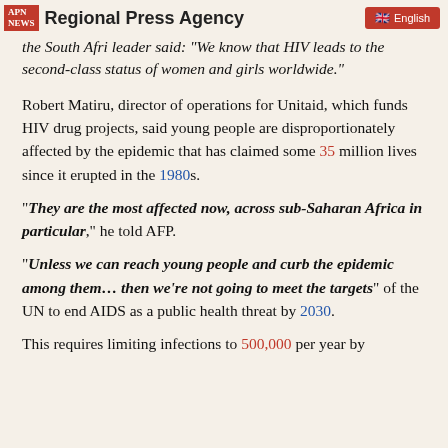Regional Press Agency | English
the South African old-timer said: "We know that HIV leads to the second-class status of women and girls worldwide."
Robert Matiru, director of operations for Unitaid, which funds HIV drug projects, said young people are disproportionately affected by the epidemic that has claimed some 35 million lives since it erupted in the 1980s.
"They are the most affected now, across sub-Saharan Africa in particular," he told AFP.
"Unless we can reach young people and curb the epidemic among them… then we're not going to meet the targets" of the UN to end AIDS as a public health threat by 2030.
This requires limiting infections to 500,000 per year by 2030, and also reducing annual deaths to about 1.8 million.